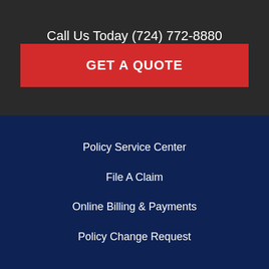Call Us Today (724) 772-8880
GET A QUOTE
Policy Service Center
File A Claim
Online Billing & Payments
Policy Change Request